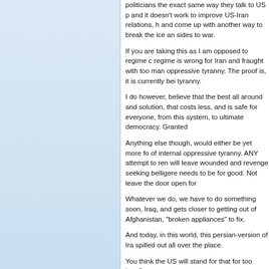politicians the exact same way they talk to US politicians and it doesn't work to improve US-Iran relations, have to and come up with another way to break the ice and sides to war.
If you are taking this as I am opposed to regime c regime is wrong for Iran and fraught with too many oppressive tyranny. The proof is, it is currently bei tyranny.
I do however, believe that the best all around and solution, that costs less, and is safe for everyone, from this system, to ultimate democracy. Granted
Anything else though, would either be yet more fo of internal oppressive tyranny. ANY attempt to rem will leave wounded and revenge seeking belligere needs to be for good. Not leave the door open for
Whatever we do, we have to do something soon, Iraq, and gets closer to getting out of Afghanistan, "broken appliances" to fix.
And today, in this world, this persian-version of Ira spilled out all over the place.
You think the US will stand for that for too long?
Would you rather fix it properly ourselves, or do yo Like they did the last couple of times.
I know a lot of people have died under this regime